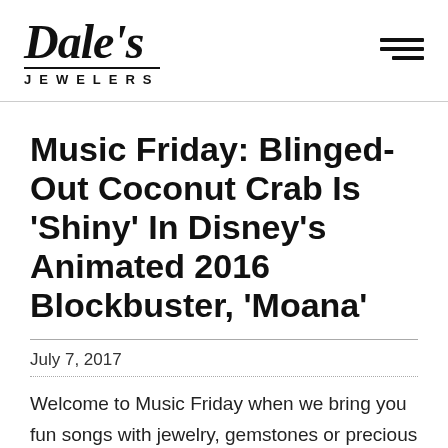Dale's Jewelers
Music Friday: Blinged-Out Coconut Crab Is 'Shiny' In Disney's Animated 2016 Blockbuster, 'Moana'
July 7, 2017
Welcome to Music Friday when we bring you fun songs with jewelry, gemstones or precious metals in the title or lyrics. Today, a giant treasure-hoarding coconut crab named Tamatoa